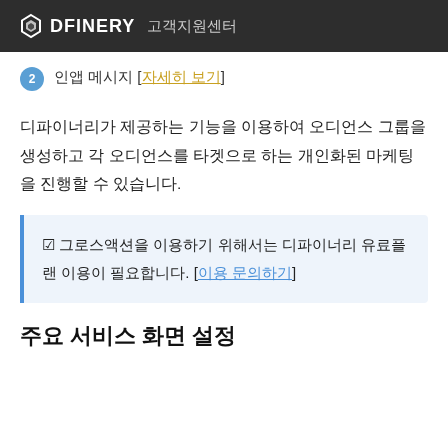DFINERY 고객지원센터
인앱 메시지 [자세히 보기]
디파이너리가 제공하는 기능을 이용하여 오디언스 그룹을 생성하고 각 오디언스를 타겟으로 하는 개인화된 마케팅을 진행할 수 있습니다.
☑ 그로스액션을 이용하기 위해서는 디파이너리 유료플랜 이용이 필요합니다. [이용 문의하기]
주요 서비스 화면 설정